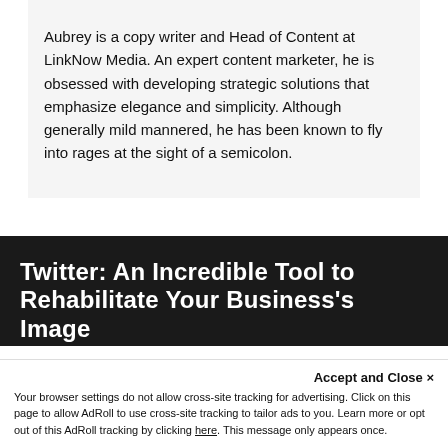Aubrey is a copy writer and Head of Content at LinkNow Media. An expert content marketer, he is obsessed with developing strategic solutions that emphasize elegance and simplicity. Although generally mild mannered, he has been known to fly into rages at the sight of a semicolon.
Twitter: An Incredible Tool to Rehabilitate Your Business's Image
Accept and Close ✕
Your browser settings do not allow cross-site tracking for advertising. Click on this page to allow AdRoll to use cross-site tracking to tailor ads to you. Learn more or opt out of this AdRoll tracking by clicking here. This message only appears once.